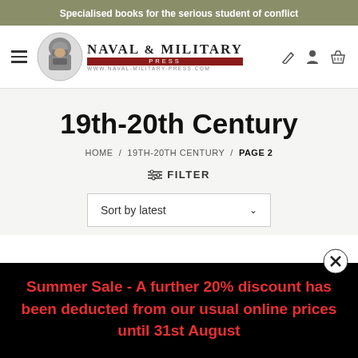Specialised books for the serious student of conflict
[Figure (logo): Naval & Military Press logo with soldier illustration]
19th-20th Century
HOME / 19TH-20TH CENTURY / PAGE 2
≡ FILTER
Sort by latest
Summer Sale - A further 20% discount has been deducted from our usual online prices until 31st August